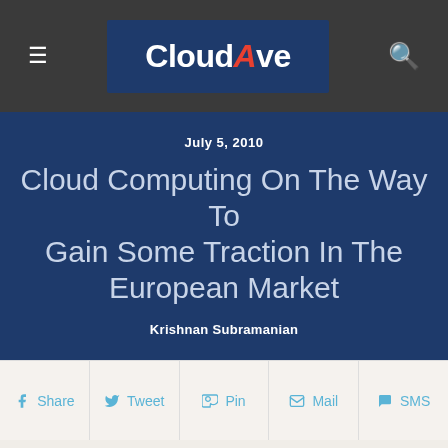CloudAve
July 5, 2010
Cloud Computing On The Way To Gain Some Traction In The European Market
Krishnan Subramanian
Share  Tweet  Pin  Mail  SMS